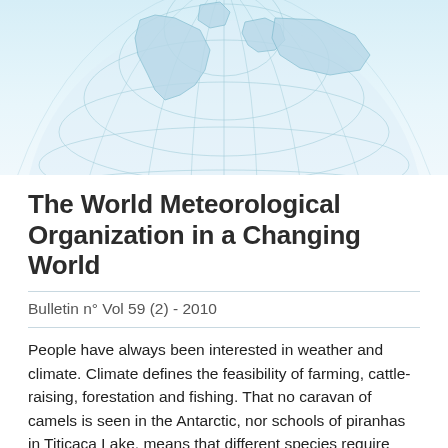[Figure (illustration): Globe/world map illustration showing a light blue wireframe globe with continental outlines, viewed from above, cropped at top and bottom showing Northern hemisphere.]
The World Meteorological Organization in a Changing World
Bulletin n° Vol 59 (2) - 2010
People have always been interested in weather and climate. Climate defines the feasibility of farming, cattle-raising, forestation and fishing. That no caravan of camels is seen in the Antarctic, nor schools of piranhas in Titicaca Lake, means that different species require specific environments. It goes without saying that deep changes in meteorological conditions, whether through climate variability or extreme events, create hazards